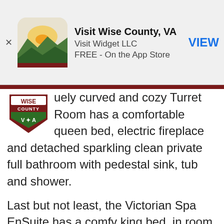[Figure (screenshot): App Store banner for 'Visit Wise County, VA' by Visit Widget LLC, FREE on the App Store, with VIEW button]
[Figure (logo): Wise County VA shield logo with green trees and maroon border]
...uely curved and cozy Turret Room has a comfortable queen bed, electric fireplace and detached sparkling clean private full bathroom with pedestal sink, tub and shower.
Last but not least, the Victorian Spa EnSuite has a comfy king bed, in room microwave, fridge and sparkling clean full ensuite bathroom with double sink vanity, Jacuzzi tub and Fiat steam shower.
All rooms have flat screen TVs, Keurig coffee makers, ceiling fans, tall windows and central heat and air.  The charming upstairs hospitality foyer